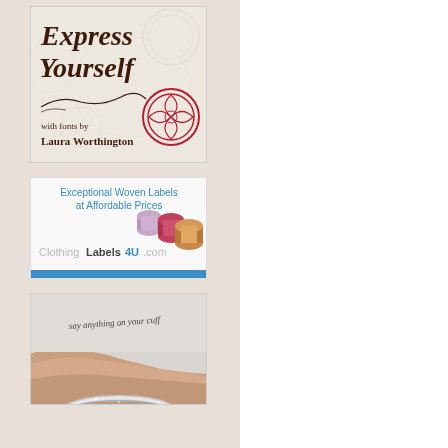[Figure (illustration): Express Yourself with fonts by Laura Worthington advertisement — decorative calligraphy text on beige floral background with red medallion logo]
[Figure (illustration): ClothingLabels4U.com advertisement — Exceptional Woven Labels at Affordable Prices, with thread spools image and blue bar]
[Figure (photo): Photo of a hand wearing a silver cuff bracelet with cursive text 'say anything on your cuff']